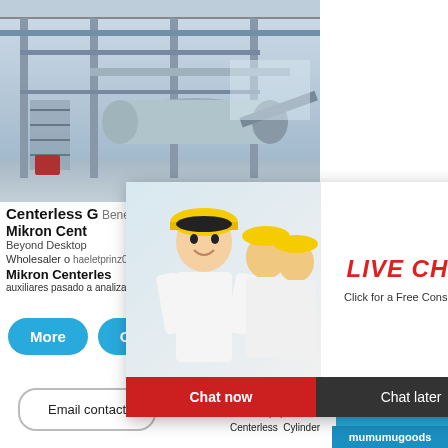[Figure (photo): Industrial factory/plant photo showing large machinery and equipment in a warehouse setting with metal frames and cylindrical equipment]
Centerless G
Benefit table top
Mikron Cent
Beyond Desktop
Wholesaler or
chheletprinz0palma
Mikron Centerless
auxiliares pasado a analizado aplicado
[Figure (photo): Live chat popup overlay showing smiling female engineer in white shirt with yellow hard hat, and two male engineers in background with yellow hard hats. Red bold italic text says LIVE CHAT, subtitle Click for a Free Consultation, with Chat now (red button) and Chat later (dark button)]
LIVE CHAT
Click for a Free Consultation
Chat now
Chat later
hour online
Click me to chat>>
Enquiry
mumumugoods
de
alimentación
pasante
Herminghauser
Filtro de papel Diámetro
Centerless Cylinder